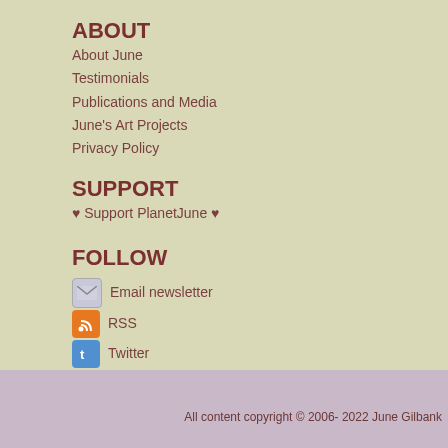ABOUT
About June
Testimonials
Publications and Media
June's Art Projects
Privacy Policy
SUPPORT
♥ Support PlanetJune ♥
FOLLOW
Email newsletter
RSS
Twitter
Facebook
YouTube
Ravelry: June
Ravelry: PlanetJune group
Instagram
All content copyright © 2006- 2022 June Gilbank